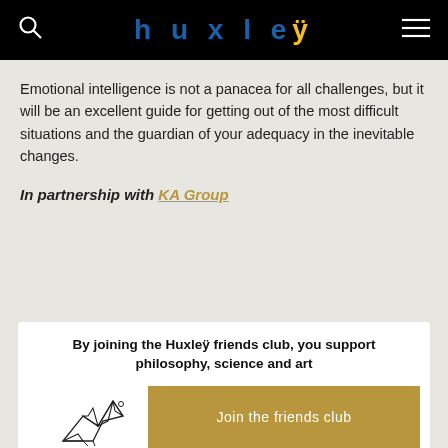huxleÿ
Emotional intelligence is not a panacea for all challenges, but it will be an excellent guide for getting out of the most difficult situations and the guardian of your adequacy in the inevitable changes.
In partnership with KA Group
By joining the Huxleÿ friends club, you support philosophy, science and art
Join the friends club